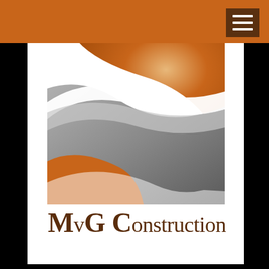[Figure (logo): MVG Construction company logo: a square graphic with orange gradient arc in upper portion and grey wave shapes below, on white background, followed by company name 'MvG Construction' in dark brown serif font]
MvG Construction